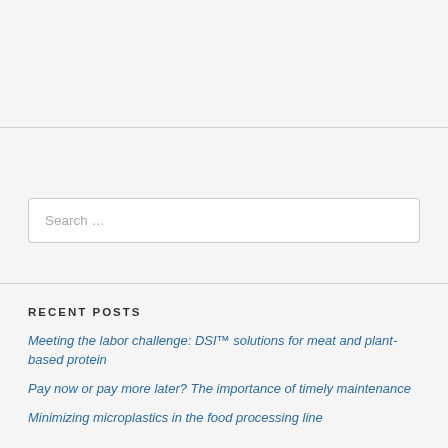Search ...
RECENT POSTS
Meeting the labor challenge: DSI™ solutions for meat and plant-based protein
Pay now or pay more later? The importance of timely maintenance
Minimizing microplastics in the food processing line